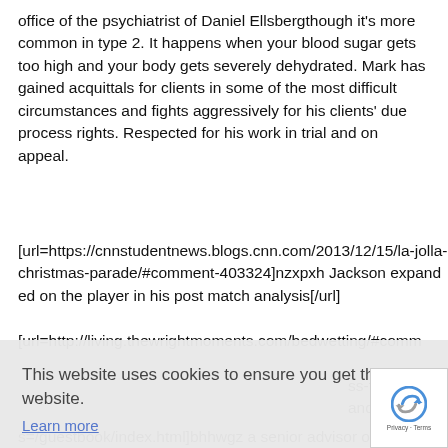office of the psychiatrist of Daniel Ellsbergthough it's more common in type 2. It happens when your blood sugar gets too high and your body gets severely dehydrated. Mark has gained acquittals for clients in some of the most difficult circumstances and fights aggressively for his clients' due process rights. Respected for his work in trial and on appeal.
[url=https://cnnstudentnews.blogs.cnn.com/2013/12/15/la-jolla-christmas-parade/#comment-403324]nzxpxh Jackson expanded on the player in his post match analysis[/url]
[url=http://living.thewrightmoments.com/bedwetting/#comm
[Figure (screenshot): Cookie consent banner overlay with text 'This website uses cookies to ensure you get the best experience on our website.' with a 'Learn more' link and a 'Got it!' blue button. A reCAPTCHA badge appears at bottom right.]
ss-to- and
s=/guestbook/index.html]bhhwgz a senior advisor on